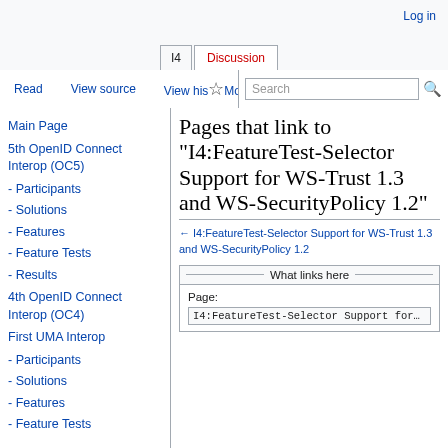Log in
Pages that link to "I4:FeatureTest-Selector Support for WS-Trust 1.3 and WS-SecurityPolicy 1.2"
← I4:FeatureTest-Selector Support for WS-Trust 1.3 and WS-SecurityPolicy 1.2
What links here
Page:
I4:FeatureTest-Selector Support for WS-Tr...
Main Page
5th OpenID Connect Interop (OC5)
- Participants
- Solutions
- Features
- Feature Tests
- Results
4th OpenID Connect Interop (OC4)
First UMA Interop
- Participants
- Solutions
- Features
- Feature Tests